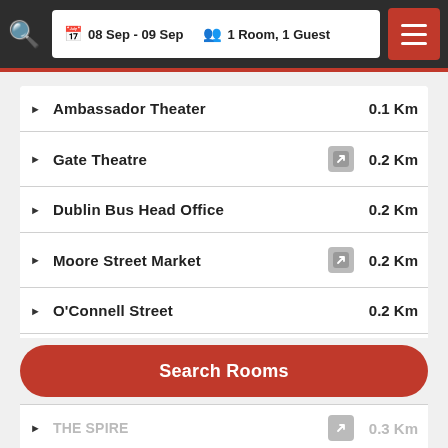08 Sep - 09 Sep  1 Room, 1 Guest
Ambassador Theater  0.1 Km
Gate Theatre  0.2 Km
Dublin Bus Head Office  0.2 Km
Moore Street Market  0.2 Km
O'Connell Street  0.2 Km
Henry Street Dublin  0.2 Km
Search Rooms